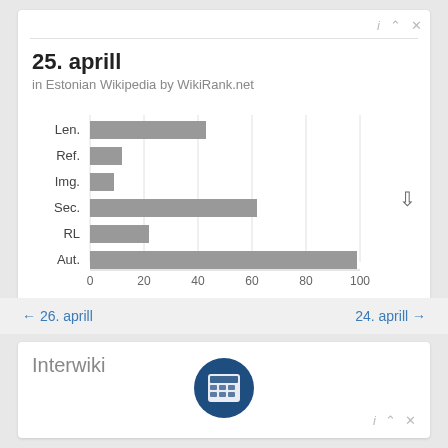25. aprill
in Estonian Wikipedia by WikiRank.net
[Figure (bar-chart): 25. aprill]
← 26. aprill
24. aprill →
Interwiki